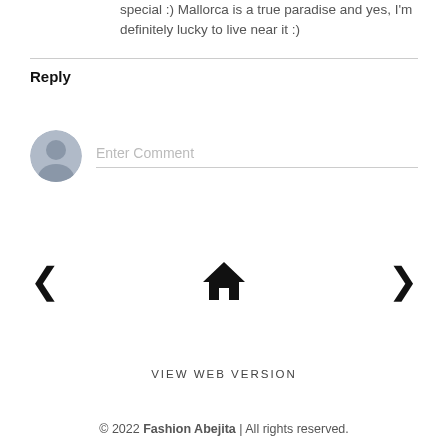special :) Mallorca is a true paradise and yes, I'm definitely lucky to live near it :)
Reply
[Figure (illustration): User avatar icon (grey silhouette) with comment input field placeholder text 'Enter Comment']
[Figure (infographic): Navigation row with left chevron '<', home icon, and right chevron '>']
VIEW WEB VERSION
© 2022 Fashion Abejita | All rights reserved.